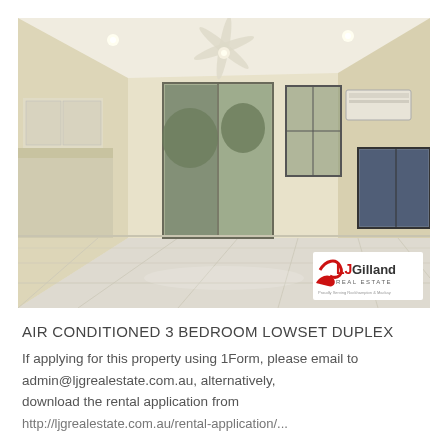[Figure (photo): Interior photo of an empty open-plan living area with cream/light yellow painted walls, large glossy cream floor tiles, ceiling fan, split-system air conditioner on the wall, sliding glass door to backyard, two windows with dark frames, and kitchen visible on the left side. LJ Gilland Real Estate logo watermark in bottom-right corner of photo.]
AIR CONDITIONED 3 BEDROOM LOWSET DUPLEX
If applying for this property using 1Form, please email to admin@ljgrealestate.com.au, alternatively, download the rental application from http://ljgrealestate.com.au/rental-application/